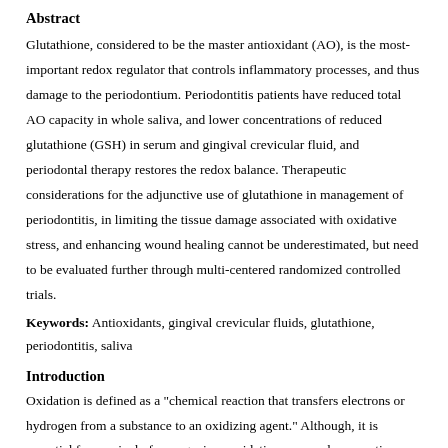Abstract
Glutathione, considered to be the master antioxidant (AO), is the most-important redox regulator that controls inflammatory processes, and thus damage to the periodontium. Periodontitis patients have reduced total AO capacity in whole saliva, and lower concentrations of reduced glutathione (GSH) in serum and gingival crevicular fluid, and periodontal therapy restores the redox balance. Therapeutic considerations for the adjunctive use of glutathione in management of periodontitis, in limiting the tissue damage associated with oxidative stress, and enhancing wound healing cannot be underestimated, but need to be evaluated further through multi-centered randomized controlled trials.
Keywords: Antioxidants, gingival crevicular fluids, glutathione, periodontitis, saliva
Introduction
Oxidation is defined as a "chemical reaction that transfers electrons or hydrogen from a substance to an oxidizing agent." Although, it is essential for survival of an organism, oxidation can produce reactive oxygen species (ROS). These include both true or oxygen derived free radicals such as superoxide radical (O 2 −), [1]